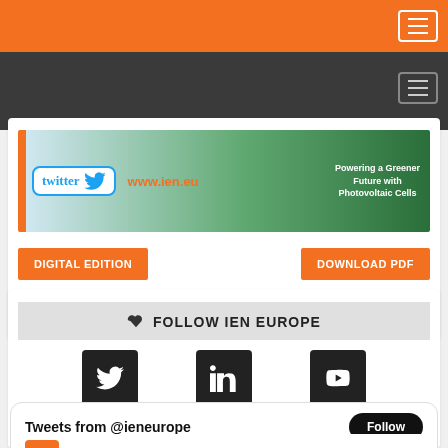[Figure (screenshot): Orange navigation top bar with hamburger menu button]
[Figure (screenshot): Dark gray secondary navigation bar with hamburger menu button]
[Figure (screenshot): Banner with Twitter logo, www.ien.eu URL, laptop image, and text 'Powering a Greener Future with Photovoltaic Cells']
DIGITAL EDITION
DOWNLOAD PDF
👍 FOLLOW IEN EUROPE
[Figure (logo): Twitter black square social icon]
[Figure (logo): LinkedIn black square social icon]
[Figure (logo): YouTube black square social icon]
Tweets from @ieneurope
Follow
IEN Europe @ieneurope · Jul 25